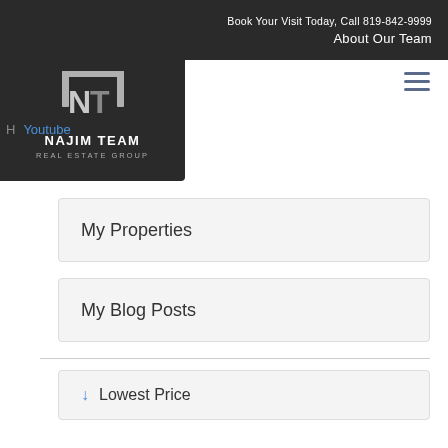Book Your Visit Today, Call 819-842-9999
About Our Team
[Figure (logo): Najim Team Real Estate Group logo — silver NT monogram on dark background with company name]
H... Youtube
My Properties
My Blog Posts
↓ Lowest Price
↑ Highest Price